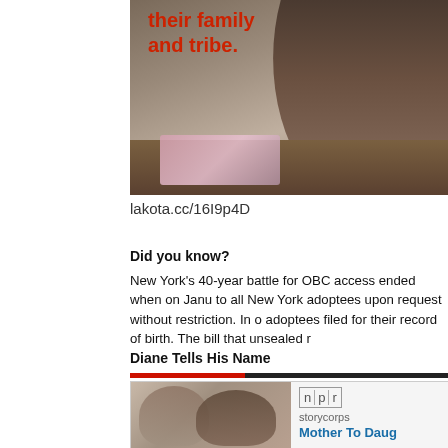[Figure (photo): Woman sitting at a wooden table looking at photographs, with red text overlay reading 'their family and tribe.']
lakota.cc/16I9p4D
Did you know?
New York's 40-year battle for OBC access ended when on Janu to all New York adoptees upon request without restriction. In o adoptees filed for their record of birth. The bill that unsealed r
Diane Tells His Name
[Figure (screenshot): NPR StoryCorps card with photo of two women hugging and text 'Mother To Daug']